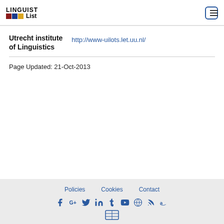LINGUIST List
Utrecht institute of Linguistics
http://www-uilots.let.uu.nl/
Page Updated: 21-Oct-2013
Policies   Cookies   Contact